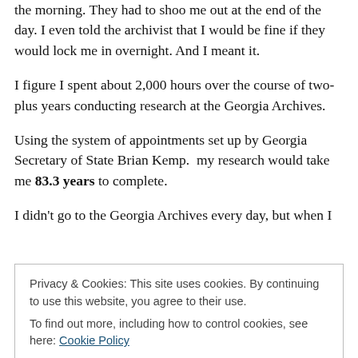the morning. They had to shoo me out at the end of the day. I even told the archivist that I would be fine if they would lock me in overnight. And I meant it.
I figure I spent about 2,000 hours over the course of two-plus years conducting research at the Georgia Archives.
Using the system of appointments set up by Georgia Secretary of State Brian Kemp.  my research would take me 83.3 years to complete.
I didn't go to the Georgia Archives every day, but when I
Privacy & Cookies: This site uses cookies. By continuing to use this website, you agree to their use.
To find out more, including how to control cookies, see here: Cookie Policy
Close and accept
Like every other small business person who uses the